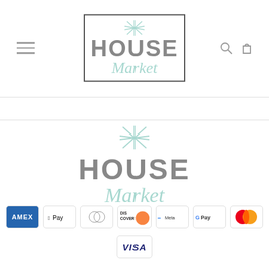[Figure (logo): House Market logo in a square border, with starfish at top, HOUSE in bold gray, Market in teal cursive]
[Figure (logo): House Market logo without border, larger version, starfish at top, HOUSE in bold gray, Market in teal cursive]
[Figure (infographic): Payment method icons: American Express, Apple Pay, Diners Club, Discover, Meta Pay, Google Pay, Mastercard, Visa]